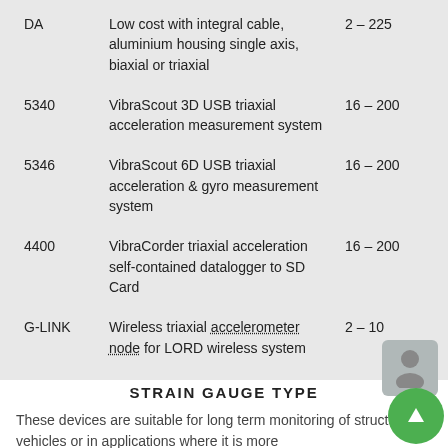| Model | Description | Freq Range (Hz) |
| --- | --- | --- |
| DA | Low cost with integral cable, aluminium housing single axis, biaxial or triaxial | 2 – 225 |
| 5340 | VibraScout 3D USB triaxial acceleration measurement system | 16 – 200 |
| 5346 | VibraScout 6D USB triaxial acceleration & gyro measurement system | 16 – 200 |
| 4400 | VibraCorder triaxial acceleration self-contained datalogger to SD Card | 16 – 200 |
| G-LINK | Wireless triaxial accelerometer node for LORD wireless system | 2 – 10 |
STRAIN GAUGE TYPE
These devices are suitable for long term monitoring of structures or vehicles or in applications where it is more